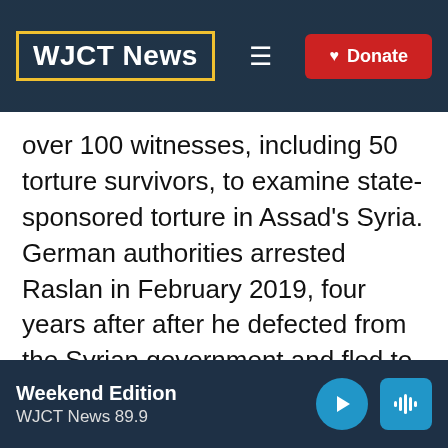WJCT News
over 100 witnesses, including 50 torture survivors, to examine state-sponsored torture in Assad's Syria. German authorities arrested Raslan in February 2019, four years after after he defected from the Syrian government and fled to Germany.
The courtroom was packed with Syrian lawyers and activists who had worked for this moment for years. The harrowing
Weekend Edition WJCT News 89.9